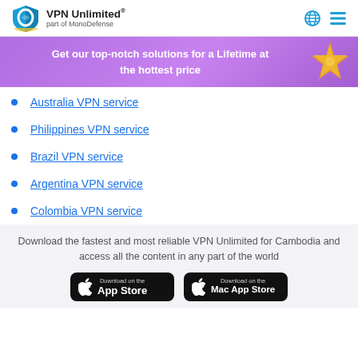VPN Unlimited® part of MonoDefense
[Figure (infographic): Purple banner with gold starfish: 'Get our top-notch solutions for a Lifetime at the hottest price']
Australia VPN service
Philippines VPN service
Brazil VPN service
Argentina VPN service
Colombia VPN service
Download the fastest and most reliable VPN Unlimited for Cambodia and access all the content in any part of the world
[Figure (screenshot): Download on the App Store button]
[Figure (screenshot): Download on the Mac App Store button]